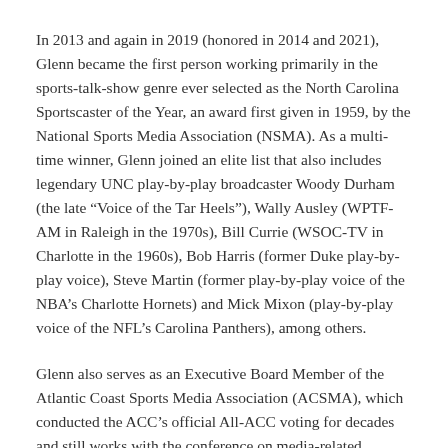In 2013 and again in 2019 (honored in 2014 and 2021), Glenn became the first person working primarily in the sports-talk-show genre ever selected as the North Carolina Sportscaster of the Year, an award first given in 1959, by the National Sports Media Association (NSMA). As a multi-time winner, Glenn joined an elite list that also includes legendary UNC play-by-play broadcaster Woody Durham (the late “Voice of the Tar Heels”), Wally Ausley (WPTF-AM in Raleigh in the 1970s), Bill Currie (WSOC-TV in Charlotte in the 1960s), Bob Harris (former Duke play-by-play voice), Steve Martin (former play-by-play voice of the NBA’s Charlotte Hornets) and Mick Mixon (play-by-play voice of the NFL’s Carolina Panthers), among others.
Glenn also serves as an Executive Board Member of the Atlantic Coast Sports Media Association (ACSMA), which conducted the ACC’s official All-ACC voting for decades and still works with the conference on media-related